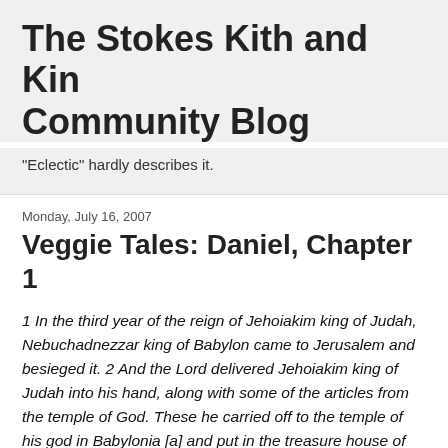The Stokes Kith and Kin Community Blog
"Eclectic" hardly describes it.
Monday, July 16, 2007
Veggie Tales: Daniel, Chapter 1
1 In the third year of the reign of Jehoiakim king of Judah, Nebuchadnezzar king of Babylon came to Jerusalem and besieged it. 2 And the Lord delivered Jehoiakim king of Judah into his hand, along with some of the articles from the temple of God. These he carried off to the temple of his god in Babylonia [a] and put in the treasure house of his god. 3 Then the king ordered Ashpenaz, chief of his court officials, to bring in some of the Israelites from the royal family and the nobility- 4 young men without any physical defect, handsome, showing aptitude for every kind of